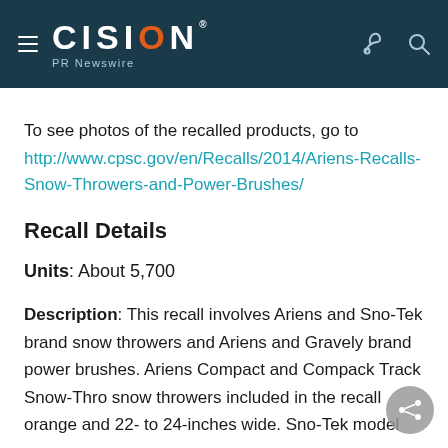CISION PR Newswire
To see photos of the recalled products, go to http://www.cpsc.gov/en/Recalls/2014/Ariens-Recalls-Snow-Throwers-and-Power-Brushes/
Recall Details
Units: About 5,700
Description: This recall involves Ariens and Sno-Tek brand snow throwers and Ariens and Gravely brand power brushes. Ariens Compact and Compack Track Snow-Thro snow throwers included in the recall orange and 22- to 24-inches wide. Sno-Tek model